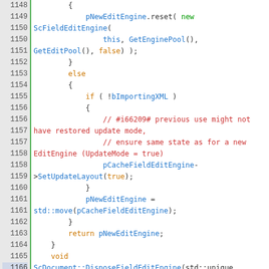[Figure (screenshot): Source code viewer showing C++ code lines 1148-1172 with syntax highlighting: line numbers on left with green border, keywords in orange, comments in red, identifiers in blue, on light gray background.]